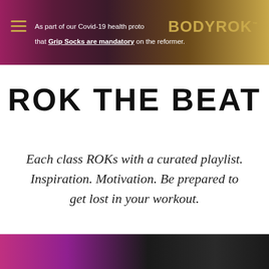As part of our Covid-19 health protocols, please note that Grip Socks are mandatory on the reformer. | BODYROK™
ROK THE BEAT
Each class ROKs with a curated playlist. Inspiration. Motivation. Be prepared to get lost in your workout.
[Figure (photo): Partial view of a fitness/workout image at the bottom of the page, showing colorful athletic clothing with dark background.]